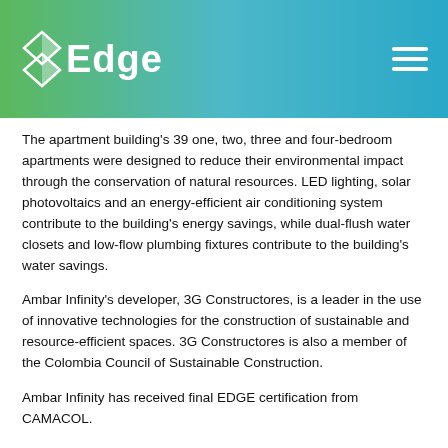Edge logo and navigation header
The apartment building's 39 one, two, three and four-bedroom apartments were designed to reduce their environmental impact through the conservation of natural resources. LED lighting, solar photovoltaics and an energy-efficient air conditioning system contribute to the building's energy savings, while dual-flush water closets and low-flow plumbing fixtures contribute to the building's water savings.
Ambar Infinity's developer, 3G Constructores, is a leader in the use of innovative technologies for the construction of sustainable and resource-efficient spaces. 3G Constructores is also a member of the Colombia Council of Sustainable Construction.
Ambar Infinity has received final EDGE certification from CAMACOL.